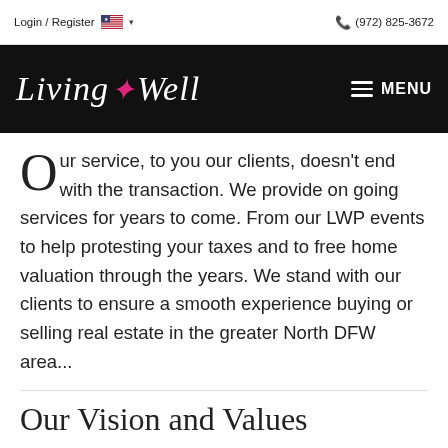Login / Register  🇺🇸 ∨   (972) 825-3672
[Figure (logo): Living+Well logo in italic script on black background with pink fleur-de-lis cross, and MENU button with hamburger icon on right]
Our service, to you our clients, doesn't end with the transaction. We provide on going services for years to come. From our LWP events to help protesting your taxes and to free home valuation through the years. We stand with our clients to ensure a smooth experience buying or selling real estate in the greater North DFW area...
Our Vision and Values